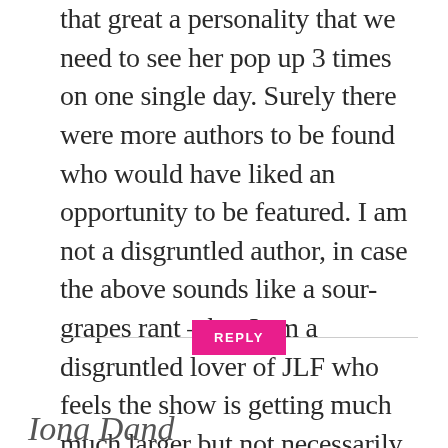that great a personality that we need to see her pop up 3 times on one single day. Surely there were more authors to be found who would have liked an opportunity to be featured. I am not a disgruntled author, in case the above sounds like a sour-grapes rant – but I am a disgruntled lover of JLF who feels the show is getting much much larger but not necessarily much much better
REPLY
Iona Dand